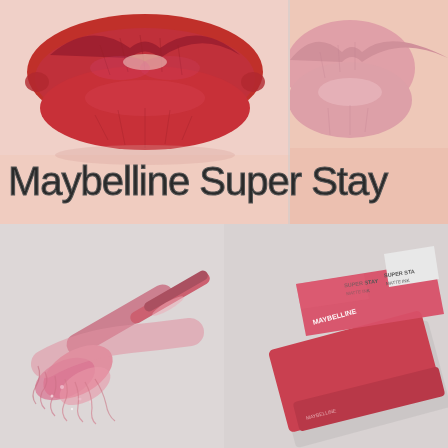[Figure (photo): Top half: two close-up photos of lips side by side — left shows bold red/pink matte lips, right shows nude/light pink lips. Overlaid text reads 'Maybelline Super Stay'. Bottom half: left photo shows a pink lip product swatch/applicator on a light grey background; right photo shows Maybelline SuperStay Matte Ink lip product packaging (red tube) on grey background.]